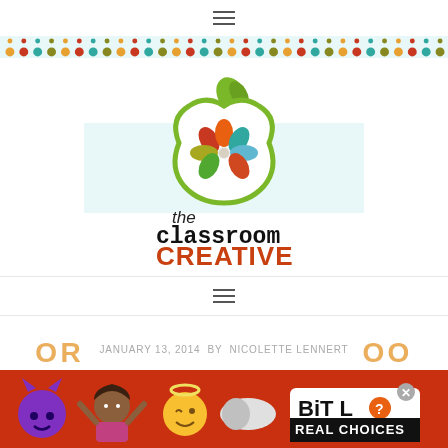[Figure (logo): Hamburger menu icon at top center]
[Figure (illustration): Colorful polka dot strip banner with dots in orange, red, teal, olive, and white on light blue background]
[Figure (logo): The Classroom Creative logo: green apple with colorful flower petals inside, text 'the classroom creative' below]
[Figure (logo): Second hamburger menu icon]
JANUARY 13, 2014  BY  NICOLETTE LENNERT
[Figure (photo): BitLife Real Choices advertisement banner with emoji characters (devil, girl, angel, pill) on red/orange background]